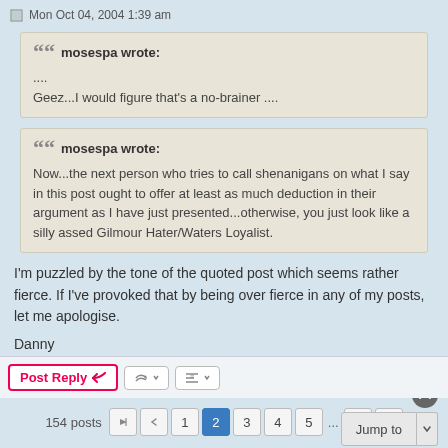Mon Oct 04, 2004 1:39 am
mosespa wrote:
....
Geez...I would figure that's a no-brainer ....
mosespa wrote:
Now...the next person who tries to call shenanigans on what I say in this post ought to offer at least as much deduction in their argument as I have just presented...otherwise, you just look like a silly assed Gilmour Hater/Waters Loyalist.
I'm puzzled by the tone of the quoted post which seems rather fierce. If I've provoked that by being over fierce in any of my posts, let me apologise.
Danny
Post Reply  |  154 posts  1 2 3 4 5 ... 11  |  Jump to